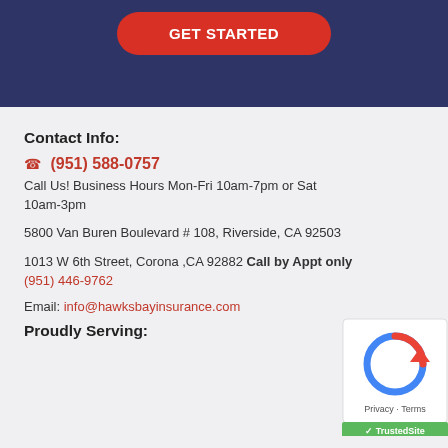GET STARTED
Contact Info:
(951) 588-0757
Call Us! Business Hours Mon-Fri 10am-7pm or Sat 10am-3pm
5800 Van Buren Boulevard # 108, Riverside, CA 92503
1013 W 6th Street, Corona ,CA 92882 Call by Appt only
(951) 446-9762
Email: info@hawksbayinsurance.com
Proudly Serving:
[Figure (logo): reCAPTCHA logo with Privacy - Terms text and TrustedSite badge]